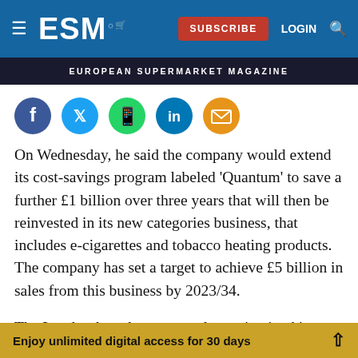ESM — EUROPEAN SUPERMARKET MAGAZINE
[Figure (other): Social sharing icons row: Facebook (dark blue), Twitter (light blue), WhatsApp (green), LinkedIn (dark blue), Email (orange)]
On Wednesday, he said the company would extend its cost-savings program labeled 'Quantum' to save a further £1 billion over three years that will then be reinvested in its new categories business, that includes e-cigarettes and tobacco heating products. The company has set a target to achieve £5 billion in sales from this business by 2023/34.
The London-based company also maintained its
Enjoy unlimited digital access for 30 days